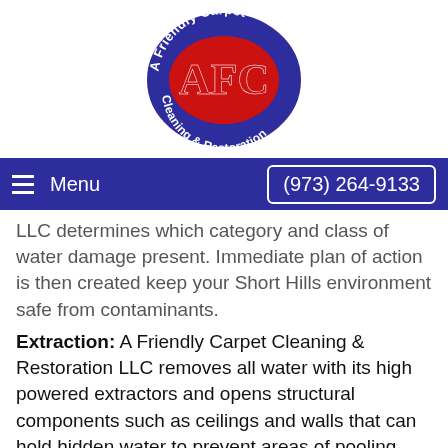[Figure (logo): A Friendly Carpet Cleaning & Restoration LLC oval logo with blue background, red inner oval, and red AFC letters]
Menu   (973) 264-9133
LLC determines which category and class of water damage present. Immediate plan of action is then created keep your Short Hills environment safe from contaminants.
Extraction: A Friendly Carpet Cleaning & Restoration LLC removes all water with its high powered extractors and opens structural components such as ceilings and walls that can hold hidden water to prevent areas of pooling, which bread microorganisms.
Drying: State of the art air movers and dehumidifiers are delivered to your Short Hills building to dry all surfaces,